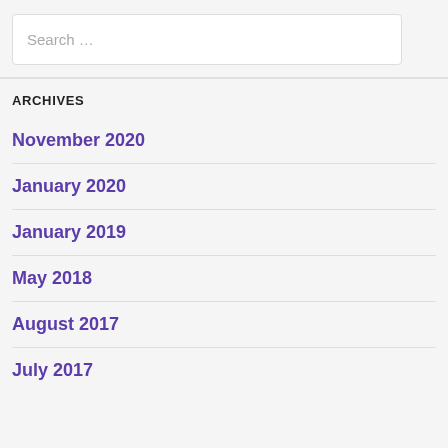Search …
ARCHIVES
November 2020
January 2020
January 2019
May 2018
August 2017
July 2017